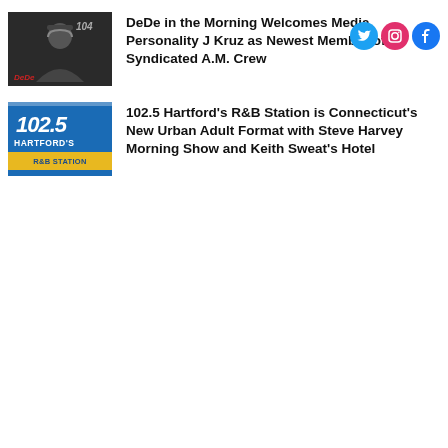[Figure (other): Social media icons: Twitter, Instagram, Facebook in top-right corner]
[Figure (photo): Dark photo of a person (DJ/radio host) with headphones, wearing a cap, with '104' text visible]
DeDe in the Morning Welcomes Media Personality J Kruz as Newest Member of Its Syndicated A.M. Crew
[Figure (logo): 102.5 Hartford's R&B Station logo - blue background with white text and yellow banner]
102.5 Hartford's R&B Station is Connecticut's New Urban Adult Format with Steve Harvey Morning Show and Keith Sweat's Hotel